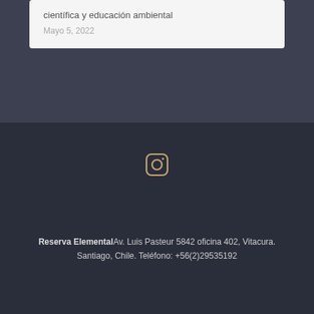científica y educación ambiental
Mayo 5, 2022
[Figure (illustration): Instagram icon - rounded square outline with circle and dot inside, rendered in a light golden/tan color on dark background]
Reserva ElementalAv. Luis Pasteur 5842 oficina 402, Vitacura.
Santiago, Chile. Teléfono: +56(2)29535192